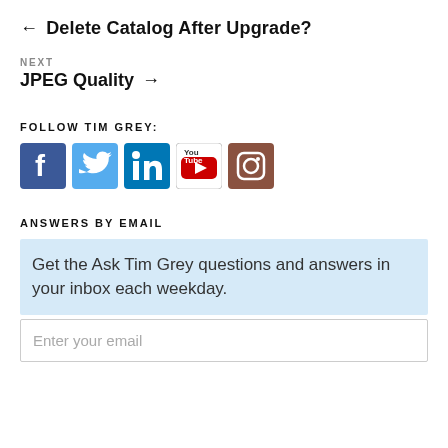← Delete Catalog After Upgrade?
NEXT
JPEG Quality →
FOLLOW TIM GREY:
[Figure (illustration): Social media icons: Facebook (blue), Twitter (light blue), LinkedIn (blue), YouTube (red/white), Instagram (brown/camera)]
ANSWERS BY EMAIL
Get the Ask Tim Grey questions and answers in your inbox each weekday.
Enter your email